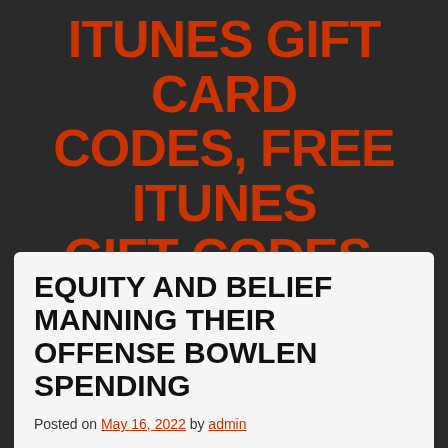ITUNES GIFT CARD CODES, FREE ITUNES GIFT CODES, ITUNES GIFT CARD CODES
EQUITY AND BELIEF MANNING THEIR OFFENSE BOWLEN SPENDING
Posted on May 16, 2022 by admin